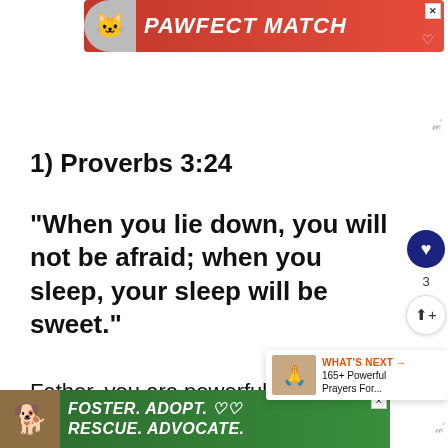[Figure (screenshot): Orange/red advertisement banner with cat image and text PAWFECT MATCH]
1) Proverbs 3:24
“When you lie down, you will not be afraid; when you sleep, your sleep will be sweet.”
Father, you are powerful. Help me well in your arms tonight. Bless me with pe... th...
[Figure (screenshot): Green advertisement banner with dog image and text FOSTER. ADOPT. RESCUE. ADVOCATE.]